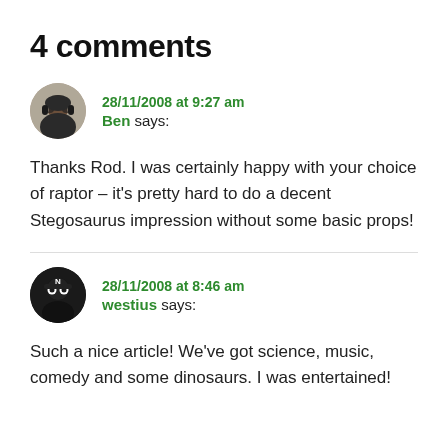4 comments
28/11/2008 at 9:27 am
Ben says:
Thanks Rod. I was certainly happy with your choice of raptor – it's pretty hard to do a decent Stegosaurus impression without some basic props!
28/11/2008 at 8:46 am
westius says:
Such a nice article! We've got science, music, comedy and some dinosaurs. I was entertained!